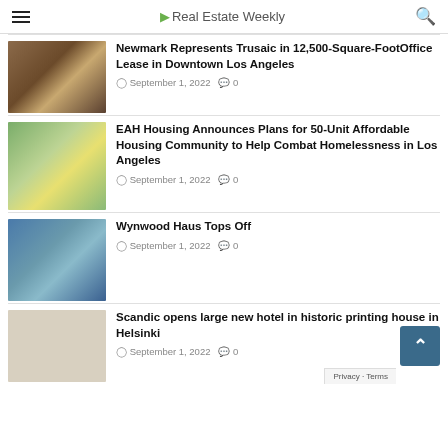Real Estate Weekly
[Figure (photo): Exterior of a multi-story brick office building in downtown Los Angeles]
Newmark Represents Trusaic in 12,500-Square-Foot Office Lease in Downtown Los Angeles
September 1, 2022  0
[Figure (photo): Rendering of a modern colorful affordable housing building]
EAH Housing Announces Plans for 50-Unit Affordable Housing Community to Help Combat Homelessness in Los Angeles
September 1, 2022  0
[Figure (photo): Aerial view of Wynwood Haus construction site with city skyline]
Wynwood Haus Tops Off
September 1, 2022  0
[Figure (photo): Historic printing house building in Helsinki]
Scandic opens large new hotel in historic printing house in Helsinki
September 1, 2022  0